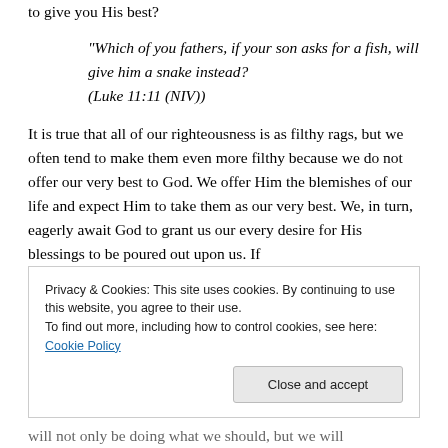to give you His best?
“Which of you fathers, if your son asks for a fish, will give him a snake instead? (Luke 11:11 (NIV))
It is true that all of our righteousness is as filthy rags, but we often tend to make them even more filthy because we do not offer our very best to God. We offer Him the blemishes of our life and expect Him to take them as our very best. We, in turn, eagerly await God to grant us our every desire for His blessings to be poured out upon us. If
Privacy & Cookies: This site uses cookies. By continuing to use this website, you agree to their use.
To find out more, including how to control cookies, see here: Cookie Policy
Close and accept
will not only be doing what we should, but we will